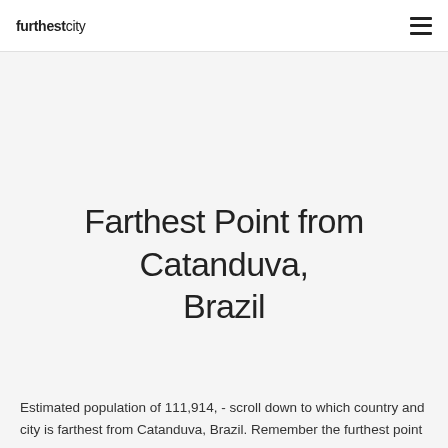furthestcity  ☰
Farthest Point from Catanduva, Brazil
Estimated population of 111,914, - scroll down to which country and city is farthest from Catanduva, Brazil. Remember the furthest point (i.e. the antipode) is likely to be in the ocean somewhere, so when considering which point is the farthest away, you need to really look at cities. We provide information for the farthest cities with